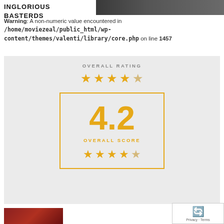INGLORIOUS BASTERDS
[Figure (photo): Movie banner/header image for Inglorious Basterds]
Warning: A non-numeric value encountered in /home/moviezeal/public_html/wp-content/themes/valenti/library/core.php on line 1457
[Figure (infographic): Overall rating box showing 4.2 stars out of 5 with star icons above and below the score inside an orange-bordered box. Label reads OVERALL RATING above stars, then 4.2 OVERALL SCORE inside the box with stars.]
[Figure (photo): Movie poster thumbnail at bottom left, red-toned Inglorious Basterds artwork]
[Figure (other): Google reCAPTCHA badge with Privacy - Terms links]